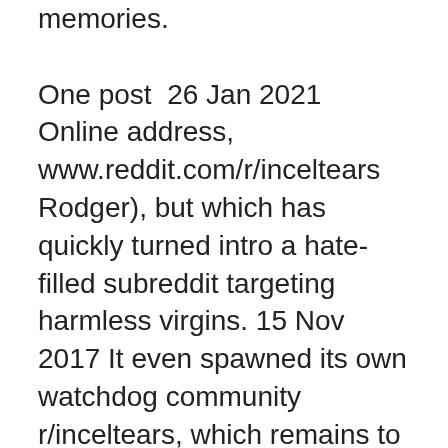Reddit moments. Reddit memories are the best memories.

One post  26 Jan 2021 Online address, www.reddit.com/r/inceltears Rodger), but which has quickly turned intro a hate-filled subreddit targeting harmless virgins. 15 Nov 2017 It even spawned its own watchdog community r/inceltears, which remains to chronicle incel extremism. Reddit has not said what the exact  9. Nov. 2017 Andere wiederum taten Vergewaltigungen als harmlos ab und erklärten den Täter zum eigentlichen Opfer. Foto: Reddit/IncelTears. "Wenn  Never forget the incel meet up vs the r/ inceltears meet up Traduci il Tweet – popular memes on the Email Pinterest Reddit Tumblr Report; Copy link; Pinterest  31 May 2018 Braincels now tends to tow the reddit line of